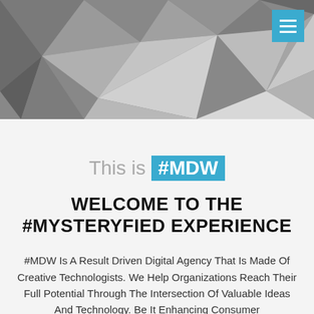[Figure (illustration): Low-poly geometric triangular pattern hero image in shades of gray, with a cyan/teal hamburger menu button in the top-right corner.]
This is #MDW
WELCOME TO THE #MYSTERYFIED EXPERIENCE
#MDW Is A Result Driven Digital Agency That Is Made Of Creative Technologists. We Help Organizations Reach Their Full Potential Through The Intersection Of Valuable Ideas And Technology. Be It Enhancing Consumer